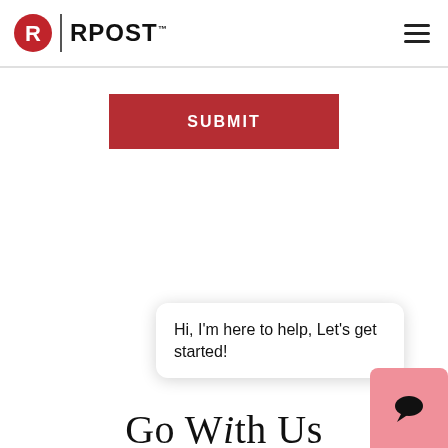RPost
[Figure (screenshot): SUBMIT button - dark red rectangle with white uppercase text]
Hi, I'm here to help, Let's get started!
Go With Us
We're the most affordable, feature-rich and elegantly easy to
[Figure (other): Chat icon button - pink/salmon rounded rectangle with chat bubble icon]